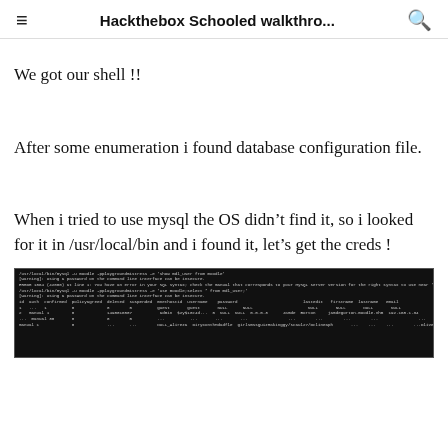Hackthebox Schooled walkthro...
We got our shell !!
After some enumeration i found database configuration file.
When i tried to use mysql the OS didn't find it, so i looked for it in /usr/local/bin and i found it, let's get the creds !
[Figure (screenshot): Terminal screenshot showing mysql command output with database table rows including columns like rank, confirmed, deletionground, deleted, suspended, mathbuild, username, password, lastedit, firstname, lastname, email, mailing, lastLogin, currentLogin, status, inout, pCO2.de, description, MaxActivitiesHtml, mailformat, multilanguist, multidropdown, trackforum, and data rows with values.]